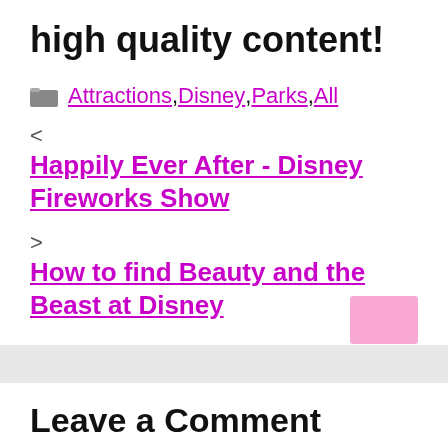high quality content!
Attractions, Disney, Parks, All
< Happily Ever After - Disney Fireworks Show
> How to find Beauty and the Beast at Disney
Leave a Comment
[Figure (other): Firestone advertisement: Get An Oil Change Near You, with LEARN MORE button]